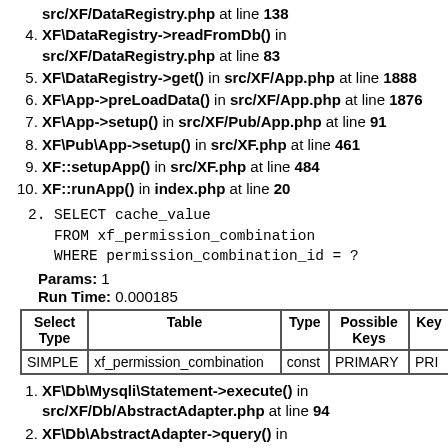4. XF\DataRegistry->readFromDb() in src/XF/DataRegistry.php at line 83
5. XF\DataRegistry->get() in src/XF/App.php at line 1888
6. XF\App->preLoadData() in src/XF/App.php at line 1876
7. XF\App->setup() in src/XF/Pub/App.php at line 91
8. XF\Pub\App->setup() in src/XF.php at line 461
9. XF::setupApp() in src/XF.php at line 484
10. XF::runApp() in index.php at line 20
2. SELECT cache_value
   FROM xf_permission_combination
   WHERE permission_combination_id = ?
Params: 1
Run Time: 0.000185
| Select Type | Table | Type | Possible Keys | Key |
| --- | --- | --- | --- | --- |
| SIMPLE | xf_permission_combination | const | PRIMARY | PRI |
1. XF\Db\Mysqli\Statement->execute() in src/XF/Db/AbstractAdapter.php at line 94
2. XF\Db\AbstractAdapter->query() in